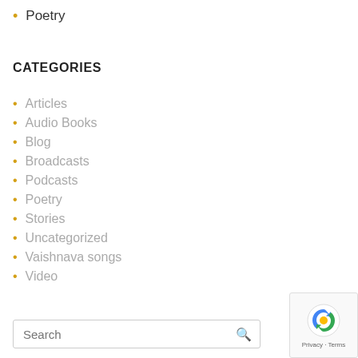Poetry
CATEGORIES
Articles
Audio Books
Blog
Broadcasts
Podcasts
Poetry
Stories
Uncategorized
Vaishnava songs
Video